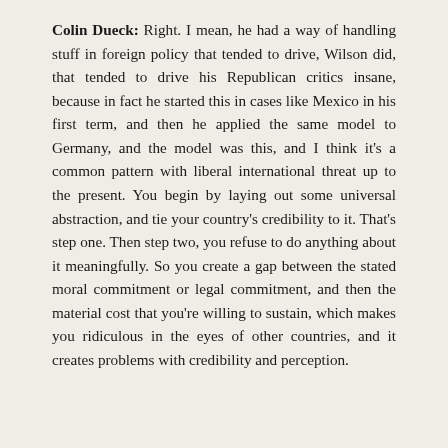Colin Dueck: Right. I mean, he had a way of handling stuff in foreign policy that tended to drive, Wilson did, that tended to drive his Republican critics insane, because in fact he started this in cases like Mexico in his first term, and then he applied the same model to Germany, and the model was this, and I think it's a common pattern with liberal international threat up to the present. You begin by laying out some universal abstraction, and tie your country's credibility to it. That's step one. Then step two, you refuse to do anything about it meaningfully. So you create a gap between the stated moral commitment or legal commitment, and then the material cost that you're willing to sustain, which makes you ridiculous in the eyes of other countries, and it creates problems with credibility and perception.